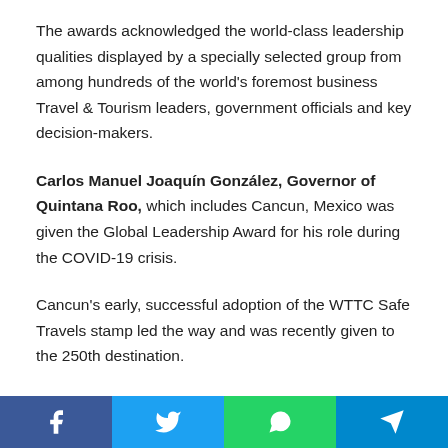The awards acknowledged the world-class leadership qualities displayed by a specially selected group from among hundreds of the world's foremost business Travel & Tourism leaders, government officials and key decision-makers.
Carlos Manuel Joaquín González, Governor of Quintana Roo, which includes Cancun, Mexico was given the Global Leadership Award for his role during the COVID-19 crisis.
Cancun's early, successful adoption of the WTTC Safe Travels stamp led the way and was recently given to the 250th destination.
His Excellency, Ahmed Al Khateb, Minister of